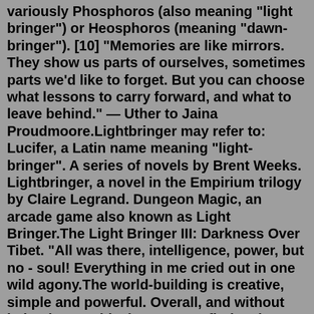variously Phosphoros (also meaning "light bringer") or Heosphoros (meaning "dawn-bringer"). [10] "Memories are like mirrors. They show us parts of ourselves, sometimes parts we'd like to forget. But you can choose what lessons to carry forward, and what to leave behind." — Uther to Jaina Proudmoore.Lightbringer may refer to: Lucifer, a Latin name meaning "light-bringer". A series of novels by Brent Weeks. Lightbringer, a novel in the Empirium trilogy by Claire Legrand. Dungeon Magic, an arcade game also known as Light Bringer.The Light Bringer III: Darkness Over Tibet. "All was there, intelligence, power, but no - soul! Everything in me cried out in one wild agony.The world-building is creative, simple and powerful. Overall, and without being hypercritical, you won't find major flaws in The Light Bringer. The author brings good ideas to the table, and I'm enjoying...'' The Lightbringer crosses the threshold of forgotten eras to offer us a solid and polished album. In a strong and daring musical movement, they take us on